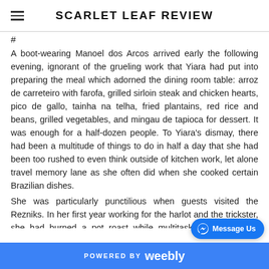SCARLET LEAF REVIEW
#
A boot-wearing Manoel dos Arcos arrived early the following evening, ignorant of the grueling work that Yiara had put into preparing the meal which adorned the dining room table: arroz de carreteiro with farofa, grilled sirloin steak and chicken hearts, pico de gallo, tainha na telha, fried plantains, red rice and beans, grilled vegetables, and mingau de tapioca for dessert. It was enough for a half-dozen people. To Yiara's dismay, there had been a multitude of things to do in half a day that she had been too rushed to even think outside of kitchen work, let alone travel memory lane as she often did when she cooked certain Brazilian dishes.
She was particularly punctilious when guests visited the Rezniks. In her first year working for the harlot and the trickster, she had burned a pot roast while multitasking, and had to quickly…
POWERED BY weebly